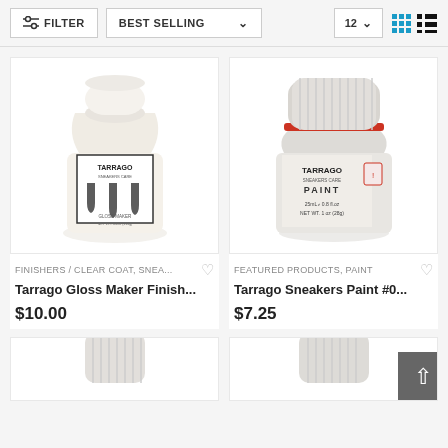FILTER | BEST SELLING | 12
[Figure (photo): Tarrago Gloss Maker Finisher product bottle, white bottle with label showing three dark drip marks and text GLOSS MAKER NET WT. 4.4oz (113g)]
FINISHERS / CLEAR COAT, SNEA...
Tarrago Gloss Maker Finish...
$10.00
[Figure (photo): Tarrago Sneakers Paint small white jar with orange/red band around cap, labeled TARRAGO SNEAKERS CARE PAINT 25mL e 0.8 fl.oz NET WT. 1 oz (28g)]
FEATURED PRODUCTS, PAINT
Tarrago Sneakers Paint #0...
$7.25
[Figure (photo): Partial view of another Tarrago product bottle (bottom of page, cut off)]
[Figure (photo): Partial view of another Tarrago product (bottom of page, cut off)]